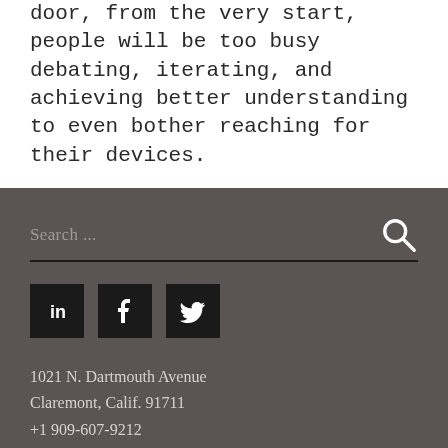door, from the very start, people will be too busy debating, iterating, and achieving better understanding to even bother reaching for their devices.
Search ...
1021 N. Dartmouth Avenue
Claremont, Calif. 91711
+1 909-607-9212